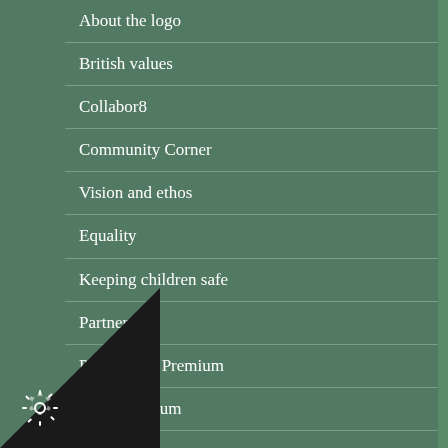About the logo
British values
Collabor8
Community Corner
Vision and ethos
Equality
Keeping children safe
Partners
PE & Sport Premium
Pupil Premium
School Governors
Swimming
...taff at Alexandra